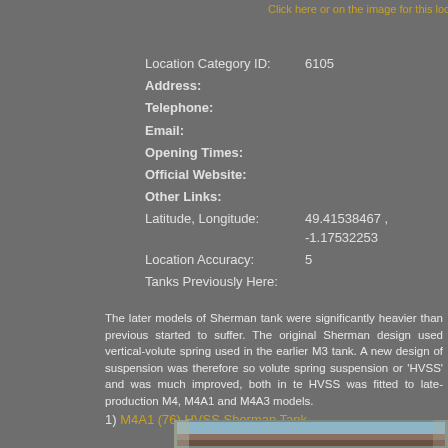Click here or on the image for this location
Location Category ID:    6105
Address:
Telephone:
Email:
Opening Times:
Official Website:
Other Links:
Latitude, Longitude:    49.41538467 , -1.17532253
Location Accuracy:    5
Tanks Previously Here:
The later models of Sherman tank were significantly heavier than previous, started to suffer. The original Sherman design used vertical-volute spring used in the earlier M3 tank. A new design of suspension was therefore so volute spring suspension or 'HVSS' and was much improved, both in t HVSS was fitted to late-production M4, M4A1 and M4A3 models.
1) M4A1 (76) HVSS Sherman Tank
Number of Photos:
[Figure (photo): Partial view of a photo strip showing a Sherman tank in an outdoor setting]